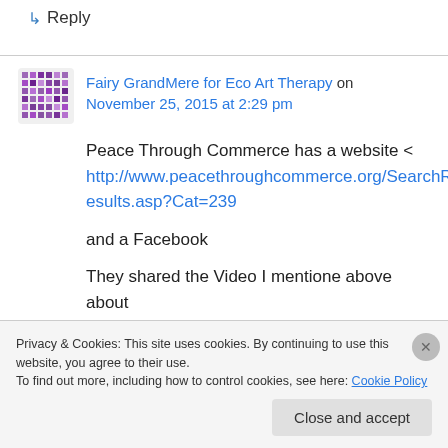↳ Reply
Fairy GrandMere for Eco Art Therapy on November 25, 2015 at 2:29 pm
Peace Through Commerce has a website < http://www.peacethroughcommerce.org/SearchResults.asp?Cat=239

and a Facebook

They shared the Video I mentione above about
Privacy & Cookies: This site uses cookies. By continuing to use this website, you agree to their use.
To find out more, including how to control cookies, see here: Cookie Policy
Close and accept